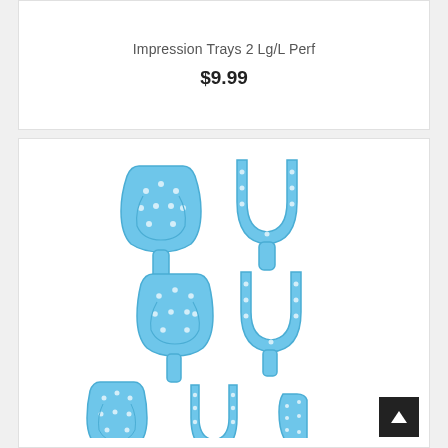Impression Trays 2 Lg/L Perf
$9.99
[Figure (photo): Seven light blue plastic dental impression trays of various sizes arranged in three rows on white background]